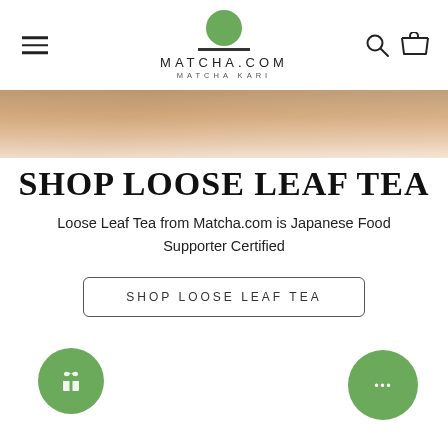[Figure (screenshot): Website header with hamburger menu on left, MATCHA.COM / MATCHA KARI logo in center with green circle above and underline, search and cart icons on right]
[Figure (photo): Partial hero image showing a warm-toned food/tea background]
SHOP LOOSE LEAF TEA
Loose Leaf Tea from Matcha.com is Japanese Food Supporter Certified
SHOP LOOSE LEAF TEA
[Figure (illustration): Green circle button with gift/present icon on bottom left]
[Figure (illustration): Green circle button with chat ellipsis icon on bottom right]